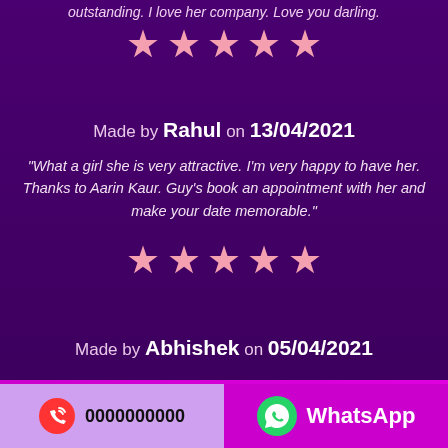outstanding. I love her company. Love you darling.
[Figure (other): 5 pink star rating icons]
Made by Rahul on 13/04/2021
"What a girl she is very attractive. I'm very happy to have her. Thanks to Aarin Kaur. Guy's book an appointment with her and make your date memorable."
[Figure (other): 5 pink star rating icons]
Made by Abhishek on 05/04/2021
0000000000   WhatsApp